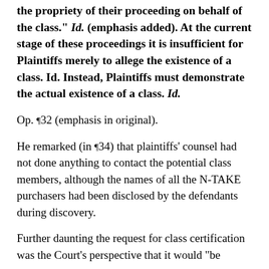the propriety of their proceeding on behalf of the class." Id. (emphasis added). At the current stage of these proceedings it is insufficient for Plaintiffs merely to allege the existence of a class. Id. Instead, Plaintiffs must demonstrate the actual existence of a class. Id.
Op. ¶32 (emphasis in original).
He remarked (in ¶34) that plaintiffs' counsel had not done anything to contact the potential class members, although the names of all the N-TAKE purchasers had been disclosed by the defendants during discovery.
Further daunting the request for class certification was the Court's perspective that it would "be